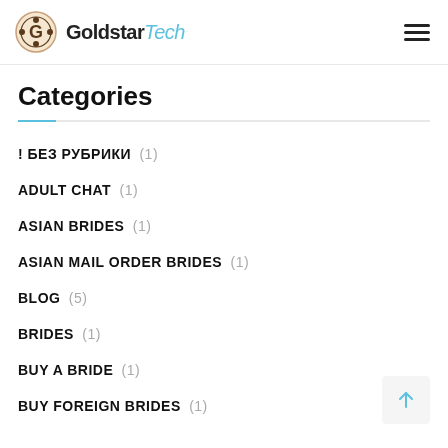GoldstarTech
Categories
! БЕЗ РУБРИКИ (1)
ADULT CHAT (1)
ASIAN BRIDES (1)
ASIAN MAIL ORDER BRIDES (1)
BLOG (5)
BRIDES (1)
BUY A BRIDE (1)
BUY FOREIGN BRIDES (1)